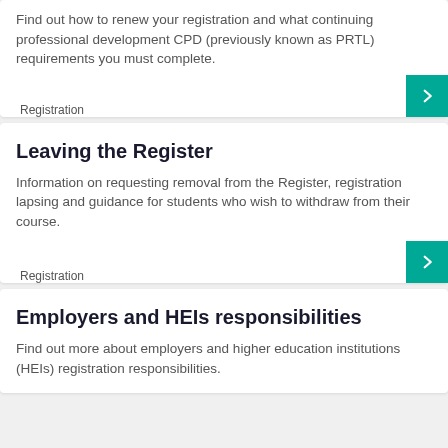Find out how to renew your registration and what continuing professional development CPD (previously known as PRTL) requirements you must complete.
Registration
Leaving the Register
Information on requesting removal from the Register, registration lapsing and guidance for students who wish to withdraw from their course.
Registration
Employers and HEIs responsibilities
Find out more about employers and higher education institutions (HEIs) registration responsibilities.